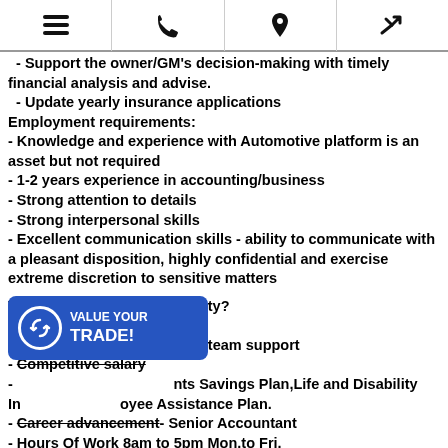[menu] [phone] [location] [settings]
- Support the owner/GM's decision-making with timely financial analysis and advise.
- Update yearly insurance applications
Employment requirements:
- Knowledge and experience with Automotive platform is an asset but not required
- 1-2 years experience in accounting/business
- Strong attention to details
- Strong interpersonal skills
- Excellent communication skills - ability to communicate with a pleasant disposition, highly confidential and exercise extreme discretion to sensitive matters
Why this is a good opportunity?
- Initial and ongoing training
- Excellent management and team support
- Competitive salary
- [VALUE YOUR TRADE! badge overlaid] ...nts Savings Plan, Life and Disability In...oyee Assistance Plan.
- Career advancement- Senior Accountant
- Hours Of Work 8am to 5pm Mon.to Fri.
[Figure (other): Blue overlay badge with circular arrow icon and text 'VALUE YOUR TRADE!']